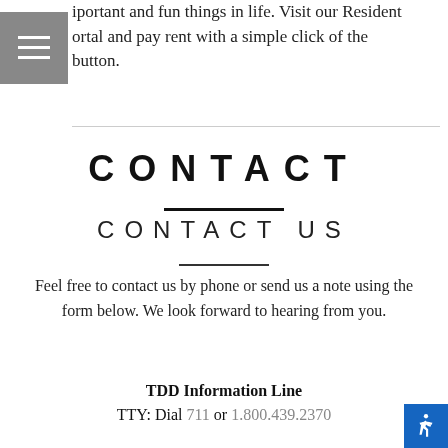iportant and fun things in life. Visit our Resident ortal and pay rent with a simple click of the button.
CONTACT
CONTACT US
Feel free to contact us by phone or send us a note using the form below. We look forward to hearing from you.
TDD Information Line
TTY: Dial 711 or 1.800.439.2370